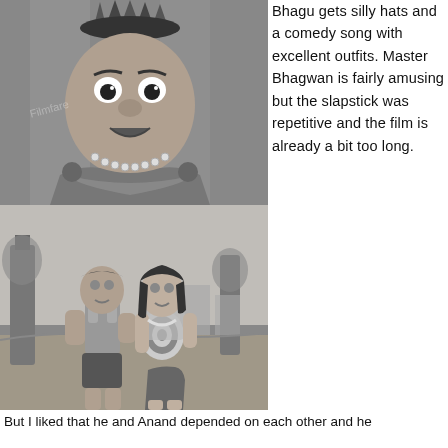[Figure (photo): Black and white photo of a heavyset man in an ornate costume with a decorative crown/hat, pearl necklace, and shiny outfit, making an expressive face.]
[Figure (photo): Black and white photo of a man in a sleeveless top and shorts with arm wraps, and a woman in a patterned top and skirt, standing outdoors.]
Bhagu gets silly hats and a comedy song with excellent outfits. Master Bhagwan is fairly amusing but the slapstick was repetitive and the film is already a bit too long.
But I liked that he and Anand depended on each other and he